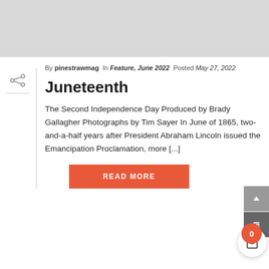[Figure (photo): Light gray image placeholder at the top of the page]
By pinestrawmag In Feature, June 2022 Posted May 27, 2022
Juneteenth
The Second Independence Day Produced by Brady Gallagher Photographs by Tim Sayer In June of 1865, two-and-a-half years after President Abraham Lincoln issued the Emancipation Proclamation, more [...]
READ MORE